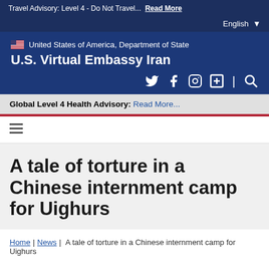Travel Advisory: Level 4 - Do Not Travel... Read More
English
[Figure (logo): United States of America, Department of State flag logo and text with U.S. Virtual Embassy Iran title and social media icons]
Global Level 4 Health Advisory: Read More...
≡ (hamburger menu icon)
A tale of torture in a Chinese internment camp for Uighurs
Home | News | A tale of torture in a Chinese internment camp for Uighurs